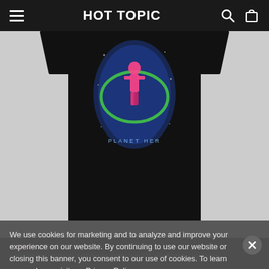HOT TOPIC
[Figure (photo): Black t-shirt with Planet Her graphic design featuring a figure in colorful cosmic artwork]
We use cookies for marketing and to analyze and improve your experience on our website. By continuing to use our website or closing this banner, you consent to our use of cookies. To learn more, please visit our Privacy Policy.
$19.12 $26.97 Reg. $27.10
4 interest-free payments available on orders over $35 with Klarna. Learn more.